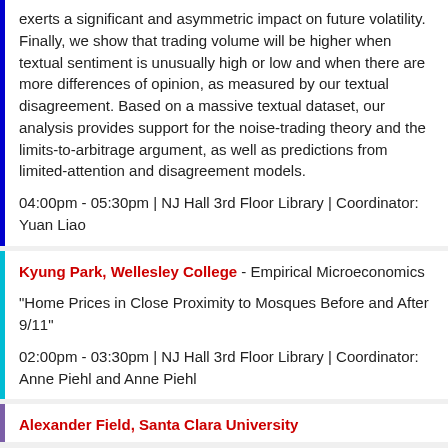exerts a significant and asymmetric impact on future volatility. Finally, we show that trading volume will be higher when textual sentiment is unusually high or low and when there are more differences of opinion, as measured by our textual disagreement. Based on a massive textual dataset, our analysis provides support for the noise-trading theory and the limits-to-arbitrage argument, as well as predictions from limited-attention and disagreement models.
04:00pm - 05:30pm | NJ Hall 3rd Floor Library | Coordinator: Yuan Liao
Kyung Park, Wellesley College - Empirical Microeconomics
"Home Prices in Close Proximity to Mosques Before and After 9/11"
02:00pm - 03:30pm | NJ Hall 3rd Floor Library | Coordinator: Anne Piehl and Anne Piehl
Alexander Field, Santa Clara University